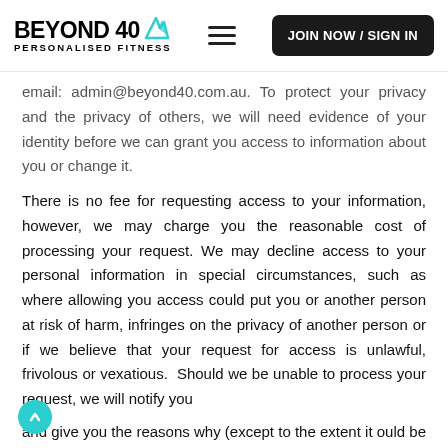BEYOND 40 PERSONALISED FITNESS | JOIN NOW / SIGN IN
email: admin@beyond40.com.au. To protect your privacy and the privacy of others, we will need evidence of your identity before we can grant you access to information about you or change it.
There is no fee for requesting access to your information, however, we may charge you the reasonable cost of processing your request. We may decline access to your personal information in special circumstances, such as where allowing you access could put you or another person at risk of harm, infringes on the privacy of another person or if we believe that your request for access is unlawful, frivolous or vexatious. Should we be unable to process your request, we will notify you and give you the reasons why (except to the extent it ould be unreasonable for us to do so).